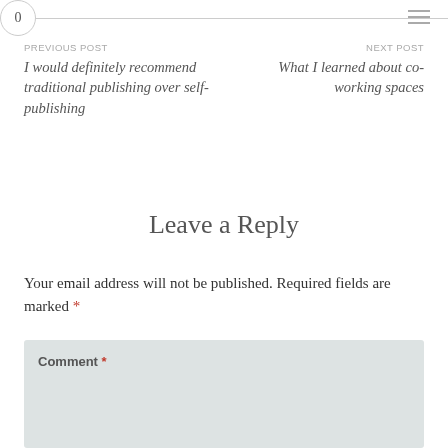0
PREVIOUS POST
I would definitely recommend traditional publishing over self-publishing
NEXT POST
What I learned about co-working spaces
Leave a Reply
Your email address will not be published. Required fields are marked *
Comment *